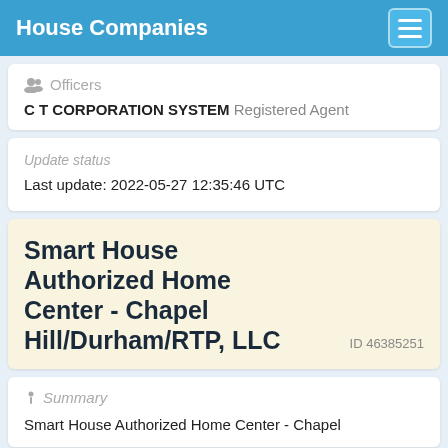House Companies
Officers
C T CORPORATION SYSTEM Registered Agent
Update status
Last update: 2022-05-27 12:35:46 UTC
Smart House Authorized Home Center - Chapel Hill/Durham/RTP, LLC
ID 46385251
Summary
Smart House Authorized Home Center - Chapel